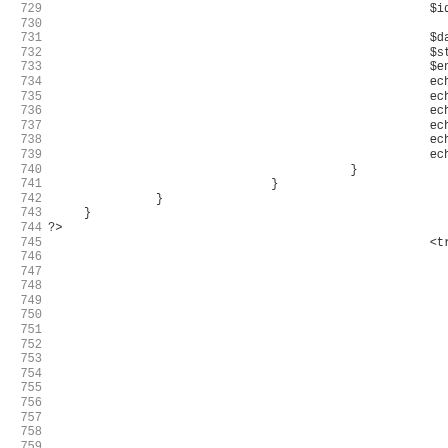Source code listing lines 729-759, showing PHP code with closing braces, ?> tag, and <tr> HTML element on line 745